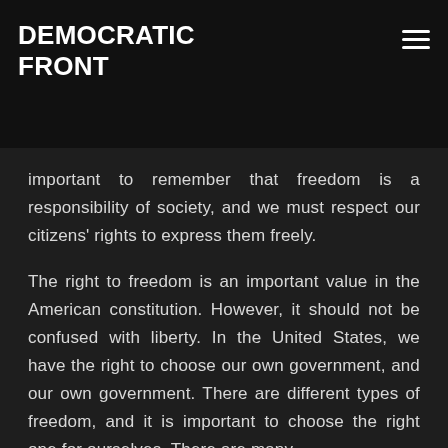DEMOCRATIC FRONT
important to remember that freedom is a responsibility of society, and we must respect our citizens' rights to express them freely.
The right to freedom is an important value in the American constitution. However, it should not be confused with liberty. In the United States, we have the right to choose our own government, and our own government. There are different types of freedom, and it is important to choose the right one for ourselves. There are many